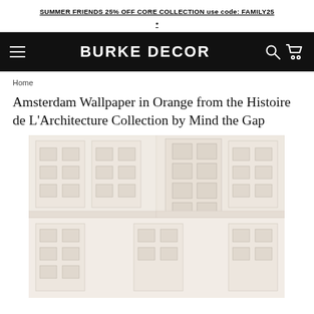SUMMER FRIENDS 25% OFF CORE COLLECTION use code: FAMILY25 *
BURKE DECOR
Home
Amsterdam Wallpaper in Orange from the Histoire de L'Architecture Collection by Mind the Gap
[Figure (photo): Wallpaper product image showing Amsterdam architectural pattern in a light cream/orange colorway with repeated building facade motifs arranged in a grid layout]